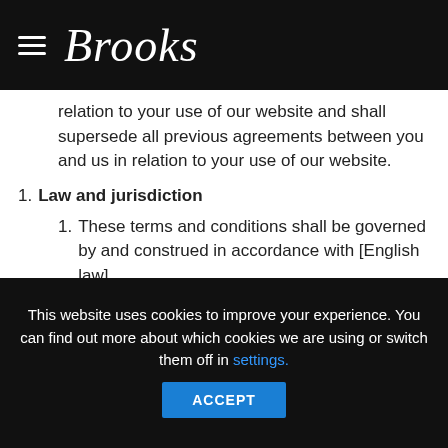Brooks
relation to your use of our website and shall supersede all previous agreements between you and us in relation to your use of our website.
1. Law and jurisdiction
1. These terms and conditions shall be governed by and construed in accordance with [English law].
2. Any disputes relating to these terms and conditions shall be subject to the [exclusive] OR [non-exclusive] jurisdiction of the courts of [England].
1. Statutory and regulatory disclosures
This website uses cookies to improve your experience. You can find out more about which cookies we are using or switch them off in settings.